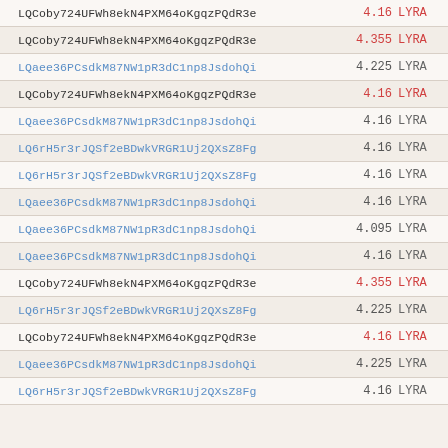LQCoby724UFWh8ekN4PXM64oKgqzPQdR3e  4.16 LYRA
LQCoby724UFWh8ekN4PXM64oKgqzPQdR3e  4.355 LYRA
LQaee36PCsdkM87NW1pR3dC1np8JsdohQi  4.225 LYRA
LQCoby724UFWh8ekN4PXM64oKgqzPQdR3e  4.16 LYRA
LQaee36PCsdkM87NW1pR3dC1np8JsdohQi  4.16 LYRA
LQ6rH5r3rJQSf2eBDwkVRGR1Uj2QXsZ8Fg  4.16 LYRA
LQ6rH5r3rJQSf2eBDwkVRGR1Uj2QXsZ8Fg  4.16 LYRA
LQaee36PCsdkM87NW1pR3dC1np8JsdohQi  4.16 LYRA
LQaee36PCsdkM87NW1pR3dC1np8JsdohQi  4.095 LYRA
LQaee36PCsdkM87NW1pR3dC1np8JsdohQi  4.16 LYRA
LQCoby724UFWh8ekN4PXM64oKgqzPQdR3e  4.355 LYRA
LQ6rH5r3rJQSf2eBDwkVRGR1Uj2QXsZ8Fg  4.225 LYRA
LQCoby724UFWh8ekN4PXM64oKgqzPQdR3e  4.16 LYRA
LQaee36PCsdkM87NW1pR3dC1np8JsdohQi  4.225 LYRA
LQ6rH5r3rJQSf2eBDwkVRGR1Uj2QXsZ8Fg  4.16 LYRA